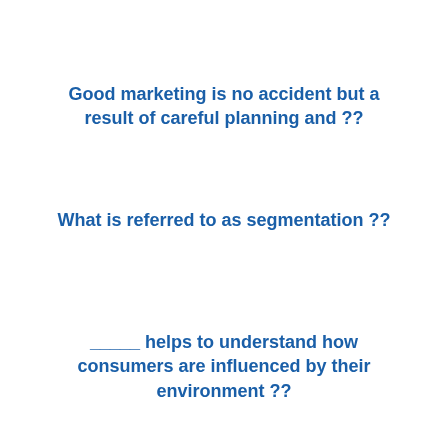Good marketing is no accident but a result of careful planning and ??
What is referred to as segmentation ??
_____ helps to understand how consumers are influenced by their environment ??